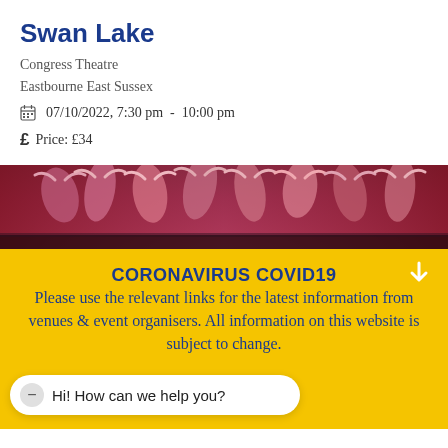Swan Lake
Congress Theatre
Eastbourne East Sussex
07/10/2022, 7:30 pm  -  10:00 pm
Price: £34
[Figure (photo): Stage photo of ballet dancers performing Swan Lake, figures in colourful costumes against a dark theatrical background]
CORONAVIRUS COVID19
Please use the relevant links for the latest information from venues & event organisers. All information on this website is subject to change.
Hi! How can we help you?